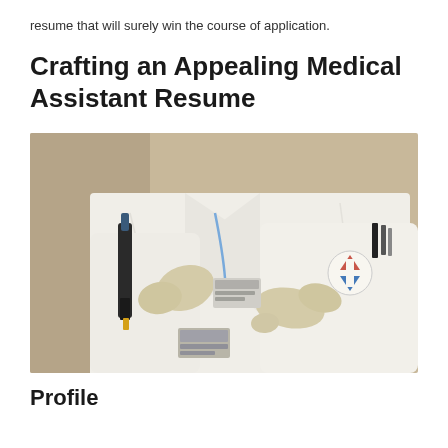resume that will surely win the course of application.
Crafting an Appealing Medical Assistant Resume
[Figure (photo): A medical professional in a white lab coat and latex gloves using a pipette, with a name badge and logo patch visible on the coat.]
Profile